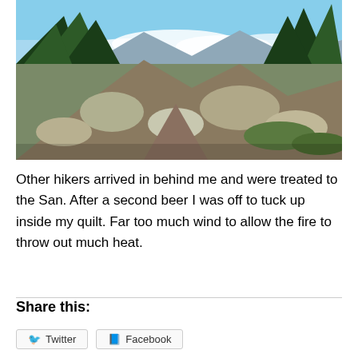[Figure (photo): Mountain trail scene with pine trees, large boulders, and a sweeping view of mountains and clouds in the background under a partly cloudy blue sky.]
Other hikers arrived in behind me and were treated to the San. After a second beer I was off to tuck up inside my quilt. Far too much wind to allow the fire to throw out much heat.
Share this:
Twitter   Facebook